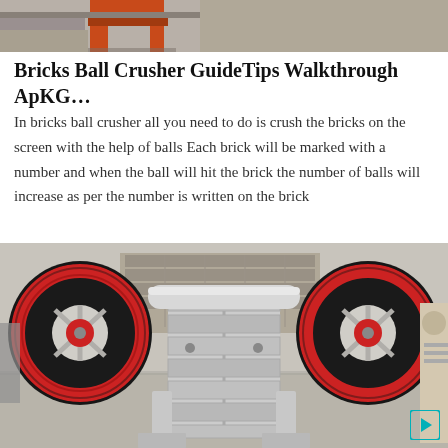[Figure (photo): Top portion of industrial machinery partially visible, showing orange/red metal frame structure on a concrete floor.]
Bricks Ball Crusher GuideTips Walkthrough ApKG…
In bricks ball crusher all you need to do is crush the bricks on the screen with the help of balls Each brick will be marked with a number and when the ball will hit the brick the number of balls will increase as per the number is written on the brick
[Figure (photo): Industrial jaw crusher machine photographed in a factory/warehouse setting. The crusher features two large black and red flywheel pulleys on either side, a central rectangular crushing chamber with a ribbed jaw plate structure in grey/silver finish, and supporting legs. The background shows shelving and industrial equipment.]